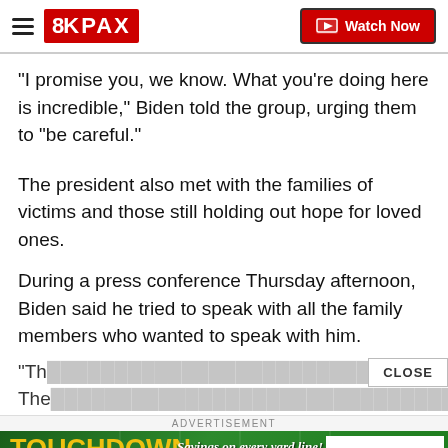8KPAX | Watch Now
"I promise you, we know. What you're doing here is incredible," Biden told the group, urging them to "be careful."
The president also met with the families of victims and those still holding out hope for loved ones.
During a press conference Thursday afternoon, Biden said he tried to speak with all the family members who wanted to speak with him.
"Th... The...
[Figure (screenshot): Touchdown Savings advertisement banner with green football field background, Bitterroot Furniture and Sleep Gallery logo on the right, and tagline 'Savings on every yard line!']